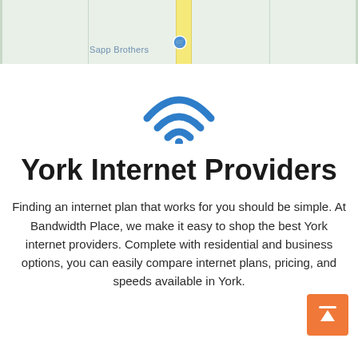[Figure (map): Partial Google Maps view showing a street with a yellow road, grid dividers, and a store label 'Sapp Brothers' with a map pin icon]
[Figure (illustration): Blue WiFi symbol icon centered on white background]
York Internet Providers
Finding an internet plan that works for you should be simple. At Bandwidth Place, we make it easy to shop the best York internet providers. Complete with residential and business options, you can easily compare internet plans, pricing, and speeds available in York.